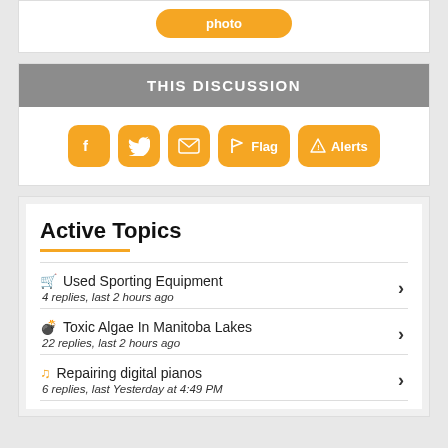[Figure (screenshot): Orange 'photo' button at top of card]
THIS DISCUSSION
[Figure (infographic): Social share buttons: Facebook, Twitter, Email, Flag, Alerts in orange rounded squares]
Active Topics
Used Sporting Equipment — 4 replies, last 2 hours ago
Toxic Algae In Manitoba Lakes — 22 replies, last 2 hours ago
Repairing digital pianos — 6 replies, last Yesterday at 4:49 PM